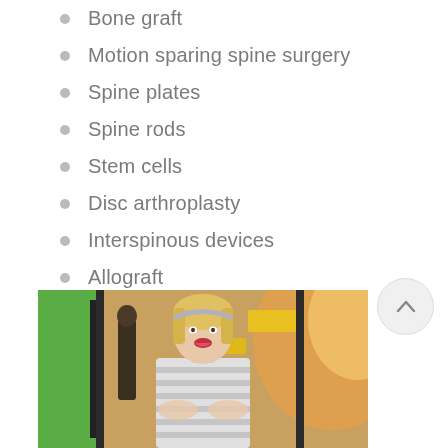Bone graft
Motion sparing spine surgery
Spine plates
Spine rods
Stem cells
Disc arthroplasty
Interspinous devices
Allograft
[Figure (photo): A smiling blonde woman in a striped top standing near a green bus or tram entrance with warm sunlight/lens flare in the background.]